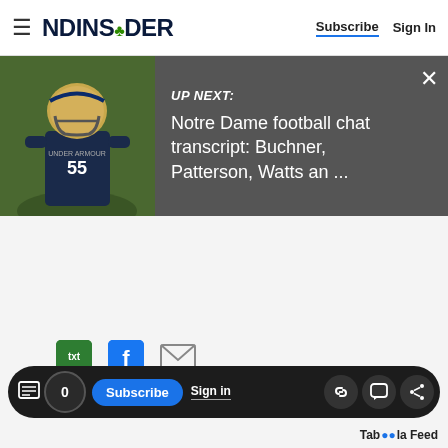NDINSiDER — Subscribe | Sign In
[Figure (screenshot): Up Next banner with football player photo and text: UP NEXT: Notre Dame football chat transcript: Buchner, Patterson, Watts an ...]
[Figure (infographic): Social sharing icons: txt (green), Facebook (blue), email (grey)]
[Figure (infographic): Bottom toolbar with comment icon, count bubble 0, Subscribe button, Sign in link, and share icons (link, comment, share)]
Taboola Feed